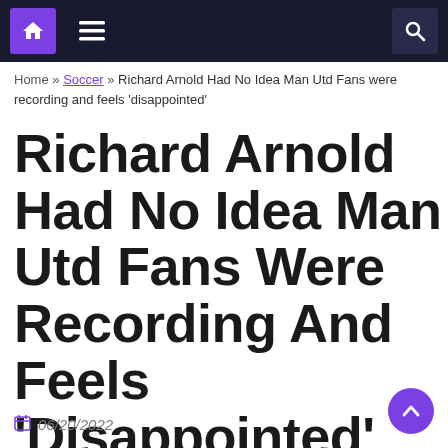Navigation bar with home icon, menu icon, and search icon
Home » Soccer » Richard Arnold Had No Idea Man Utd Fans were recording and feels 'disappointed'
Richard Arnold Had No Idea Man Utd Fans Were Recording And Feels 'Disappointed'
06/20/2022